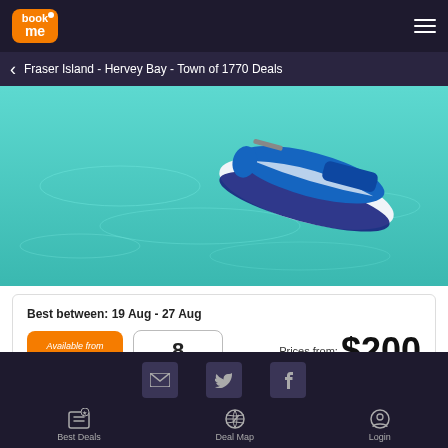book me — Fraser Island - Hervey Bay - Town of 1770 Deals
[Figure (photo): Aerial view of a jet ski / personal watercraft on turquoise water]
Best between: 19 Aug - 27 Aug
Available from 20% Off
8 Spaces
Prices from: $200 Save up to $50.00
Add to List
Best Deals | Deal Map | Login